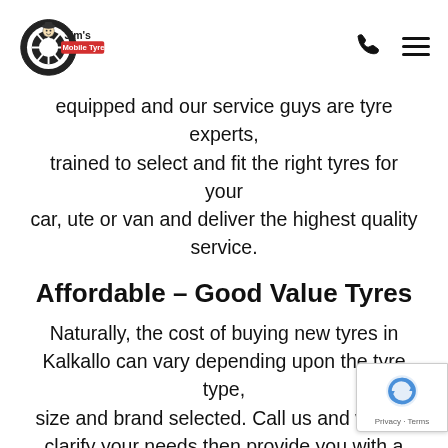Jim's Mobile Tyres logo with phone and menu icons
equipped and our service guys are tyre experts, trained to select and fit the right tyres for your car, ute or van and deliver the highest quality service.
Affordable – Good Value Tyres
Naturally, the cost of buying new tyres in Kalkallo can vary depending upon the tyre type, size and brand selected. Call us and we will clarify your needs then provide you with a very competitive price to bring the new tyres to your home or place of work at a time of choosing and expertly fit them. At Jims Mobile